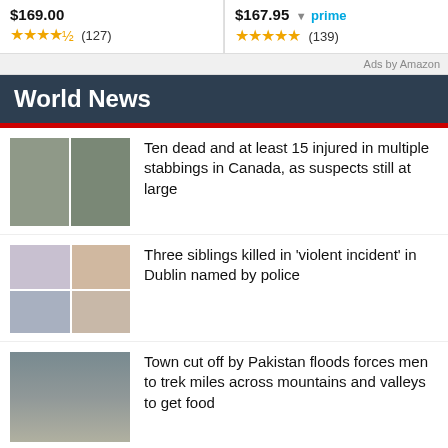[Figure (other): Product listing row showing two products with prices and star ratings. Left: $169.00 with 4.5 stars (127 reviews). Right: $167.95 prime with 5 stars (139 reviews).]
Ads by Amazon
World News
[Figure (photo): Two mugshot-style photos of male suspects side by side]
Ten dead and at least 15 injured in multiple stabbings in Canada, as suspects still at large
[Figure (photo): Four photos arranged in grid showing family/siblings]
Three siblings killed in ‘violent incident’ in Dublin named by police
[Figure (photo): Photo of people in mountainous flooded terrain]
Town cut off by Pakistan floods forces men to trek miles across mountains and valleys to get food
[Figure (photo): Partial photo, partially cropped at bottom of page]
Russia scraps plans to reopen major gas